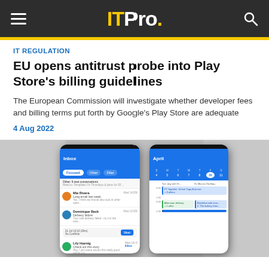IT Pro.
IT REGULATION
EU opens antitrust probe into Play Store's billing guidelines
The European Commission will investigate whether developer fees and billing terms put forth by Google's Play Store are adequate
4 Aug 2022
[Figure (photo): Two Android smartphones showing Google apps — the left phone displays an email inbox (Gmail) and the right phone displays a calendar view (Google Calendar). Both phones are shown against a grey background.]